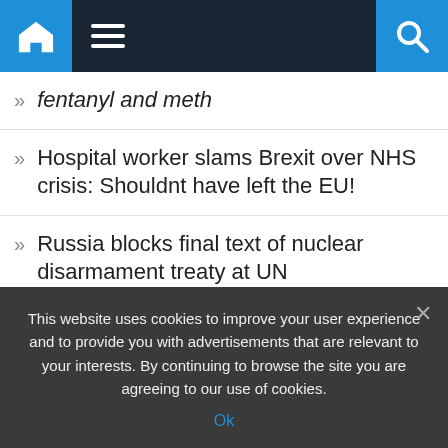Navigation bar with home, menu, and search icons
fentanyl and meth
Hospital worker slams Brexit over NHS crisis: Shouldnt have left the EU!
Russia blocks final text of nuclear disarmament treaty at UN
Elon Musk issues grim apocalypse warning as he predicts end of mankind
This website uses cookies to improve your user experience and to provide you with advertisements that are relevant to your interests. By continuing to browse the site you are agreeing to our use of cookies.
Ok